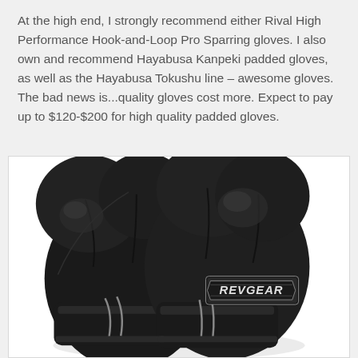At the high end, I strongly recommend either Rival High Performance Hook-and-Loop Pro Sparring gloves. I also own and recommend Hayabusa Kanpeki padded gloves, as well as the Hayabusa Tokushu line – awesome gloves. The bad news is...quality gloves cost more. Expect to pay up to $120-$200 for high quality padded gloves.
[Figure (photo): A pair of black Revgear boxing/sparring gloves photographed against a white background, showing the REVGEAR logo on the side of one glove.]